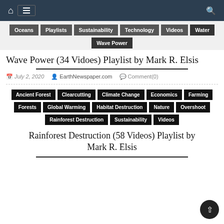Navigation bar with home, menu, and search icons
Oceans | Playlists | Sustainability | Technology | Videos | Water | Wave Power
Wave Power (34 Vidoes) Playlist by Mark R. Elsis
July 2, 2020   EarthNewspaper.com   Comment(0)
Ancient Forest | Clearcutting | Climate Change | Economics | Farming | Forests | Global Warming | Habitat Destruction | Nature | Overshoot | Rainforest Destruction | Sustainability | Videos
Rainforest Destruction (58 Videos) Playlist by Mark R. Elsis